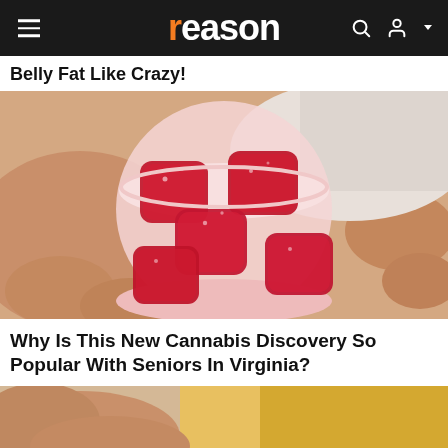reason
Belly Fat Like Crazy!
[Figure (photo): A hand holding a small white plastic cup filled with red gummy candy cubes on a light background]
Why Is This New Cannabis Discovery So Popular With Seniors In Virginia?
[Figure (photo): A close-up image showing a person's hand touching a pale fabric, partially visible at the bottom of the page]